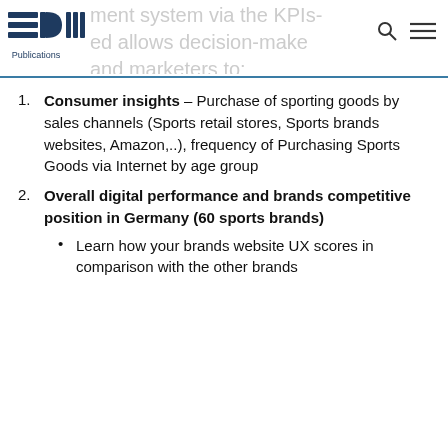EDM Publications — [partial header text visible] management system via the KPIs-based allows decision-makers and marketers to:
Consumer insights – Purchase of sporting goods by sales channels (Sports retail stores, Sports brands websites, Amazon,..), frequency of Purchasing Sports Goods via Internet by age group
Overall digital performance and brands competitive position in Germany (60 sports brands)
Learn how your brands website UX scores in comparison with the other brands